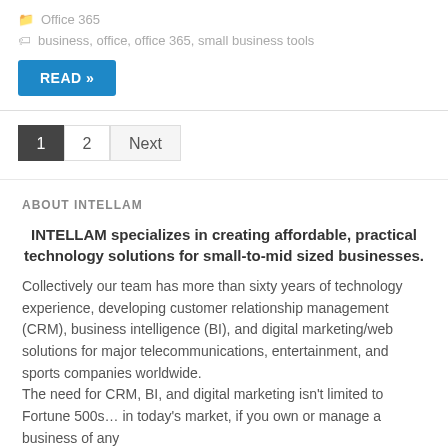Office 365
business, office, office 365, small business tools
READ »
1  2  Next
ABOUT INTELLAM
INTELLAM specializes in creating affordable, practical technology solutions for small-to-mid sized businesses.
Collectively our team has more than sixty years of technology experience, developing customer relationship management (CRM), business intelligence (BI), and digital marketing/web solutions for major telecommunications, entertainment, and sports companies worldwide.
The need for CRM, BI, and digital marketing isn't limited to Fortune 500s... in today's market, if you own or manage a business of any